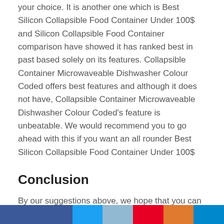your choice. It is another one which is Best Silicon Collapsible Food Container Under 100$ and Silicon Collapsible Food Container comparison have showed it has ranked best in past based solely on its features. Collapsible Container Microwaveable Dishwasher Colour Coded offers best features and although it does not have, Collapsible Container Microwaveable Dishwasher Colour Coded's feature is unbeatable. We would recommend you to go ahead with this if you want an all rounder Best Silicon Collapsible Food Container Under 100$
Conclusion
By our suggestions above, we hope that you can found Silicon Collapsible Food Container for you.Please don't forget to share your experience by comment in this post. Thank you!
[Figure (other): Row of social share buttons: Facebook (dark blue, wide), Twitter (light blue), LinkedIn (muted blue), Pinterest (red), Reddit (orange), Telegram (blue)]